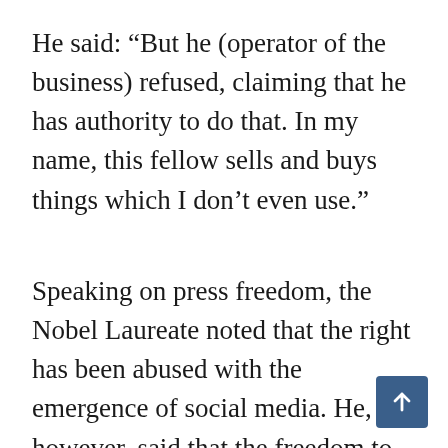He said: “But he (operator of the business) refused, claiming that he has authority to do that. In my name, this fellow sells and buys things which I don’t even use.”
Speaking on press freedom, the Nobel Laureate noted that the right has been abused with the emergence of social media. He, however, said that the freedom to press and expression should not be taken with levity and should be guaranteed.